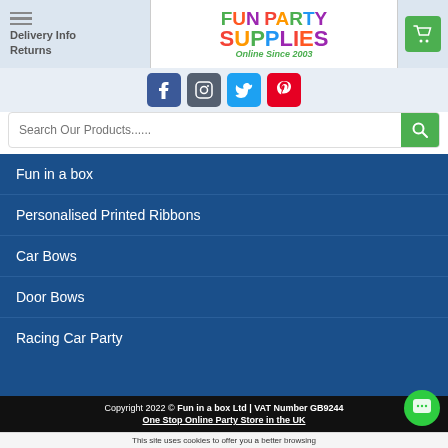Delivery Info | Returns | Fun Party Supplies – Online Since 2003
[Figure (logo): Fun Party Supplies logo with colourful letters and tagline 'Online Since 2003']
[Figure (infographic): Social media icons: Facebook, Instagram, Twitter, Pinterest]
Search Our Products......
Fun in a box
Personalised Printed Ribbons
Car Bows
Door Bows
Racing Car Party
Copyright 2022 © Fun in a box Ltd | VAT Number GB9244... | One Stop Online Party Store in the UK
This site uses cookies to offer you a better browsing